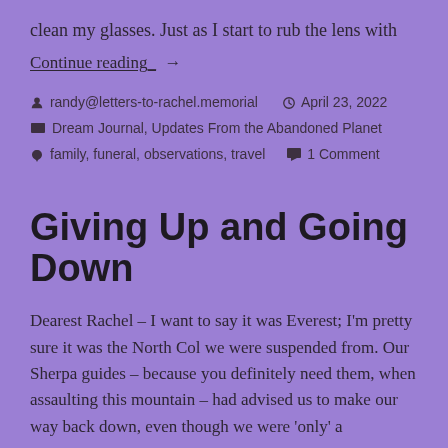clean my glasses. Just as I start to rub the lens with
Continue reading_ →
randy@letters-to-rachel.memorial   April 23, 2022
Dream Journal, Updates From the Abandoned Planet
family, funeral, observations, travel   1 Comment
Giving Up and Going Down
Dearest Rachel – I want to say it was Everest; I'm pretty sure it was the North Col we were suspended from. Our Sherpa guides – because you definitely need them, when assaulting this mountain – had advised us to make our way back down, even though we were 'only' a